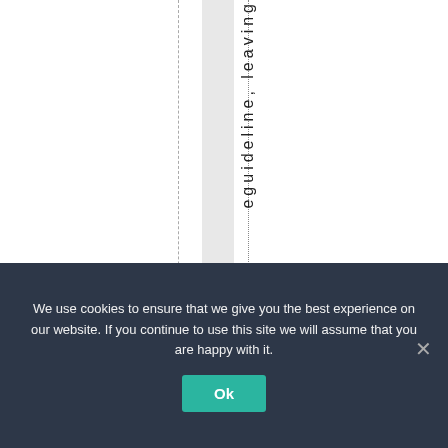[Figure (other): Document page layout with vertical text reading 'eguideline, leaving', a dashed vertical line, a light gray vertical band, and a dotted vertical line. The text appears rotated 90 degrees.]
We use cookies to ensure that we give you the best experience on our website. If you continue to use this site we will assume that you are happy with it.